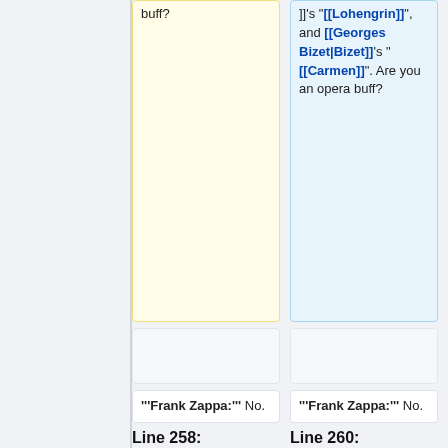]]'s "[[Lohengrin]]", and [[Georges Bizet|Bizet]]'s "[[Carmen]]". Are you an opera buff?
buff?
'''Frank Zappa:''' No.
'''Frank Zappa:''' No.
Line 258:
Line 260:
'''Den Simms:''' What led up to you playing the Untouchables Theme? How did that come about?
'''Den Simms:''' What led up to you playing the Untouchables Theme? How did that come about?
'''Frank Zappa:'''
'''Frank Zappa:'''